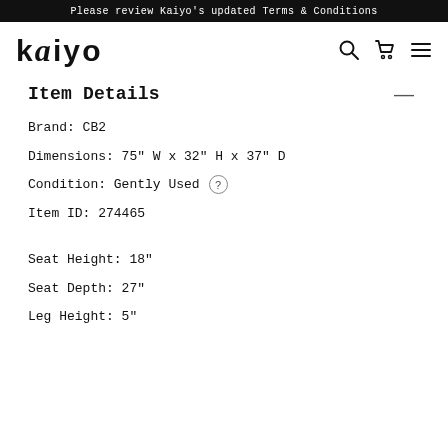Please review Kaiyo's updated Terms & Conditions
[Figure (logo): Kaiyo logo in bold lowercase sans-serif with search, cart, and hamburger menu icons]
Item Details
Brand: CB2
Dimensions: 75" W x 32" H x 37" D
Condition: Gently Used
Item ID: 274465
Seat Height: 18"
Seat Depth: 27"
Leg Height: 5"